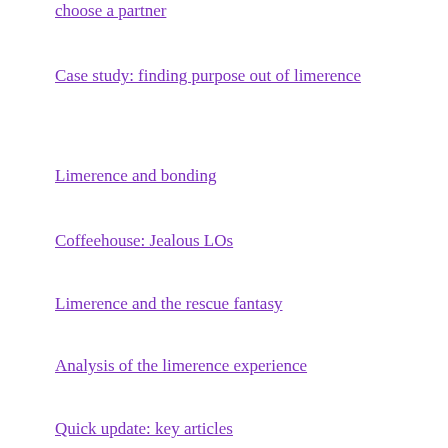choose a partner
Case study: finding purpose out of limerence
Limerence and bonding
Coffeehouse: Jealous LOs
Limerence and the rescue fantasy
Analysis of the limerence experience
Quick update: key articles
The worst case of limerence I've ever seen
Why do I become obsessed with certain people?